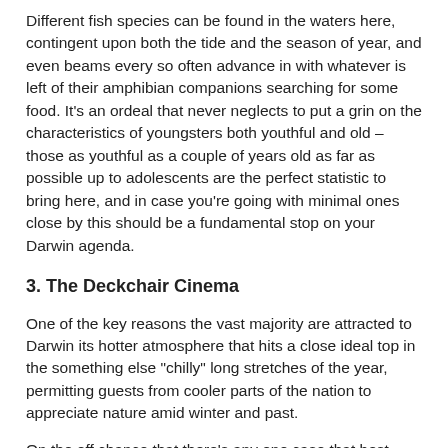Different fish species can be found in the waters here, contingent upon both the tide and the season of year, and even beams every so often advance in with whatever is left of their amphibian companions searching for some food. It's an ordeal that never neglects to put a grin on the characteristics of youngsters both youthful and old – those as youthful as a couple of years old as far as possible up to adolescents are the perfect statistic to bring here, and in case you're going with minimal ones close by this should be a fundamental stop on your Darwin agenda.
3. The Deckchair Cinema
One of the key reasons the vast majority are attracted to Darwin its hotter atmosphere that hits a close ideal top in the something else "chilly" long stretches of the year, permitting guests from cooler parts of the nation to appreciate nature amid winter and past.
On the off chance that there's any one case that best speaks to this Darwin advantage over some of its southern neighbors, the Deckchair Cinema would be it – it's an open